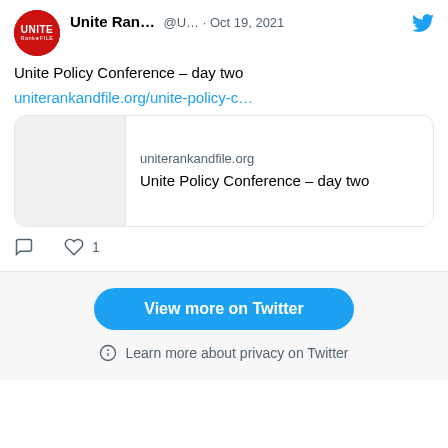[Figure (screenshot): Tweet from Unite Rank and File account (@U...) dated Oct 19, 2021, showing 'Unite Policy Conference – day two' with a link preview to uniterankandfile.org, comment and like icons (1 like), and a 'View more on Twitter' button with a privacy note.]
Unite Ran... @U... · Oct 19, 2021
Unite Policy Conference – day two
uniterankandfile.org/unite-policy-c...
uniterankandfile.org
Unite Policy Conference – day two
1
View more on Twitter
Learn more about privacy on Twitter